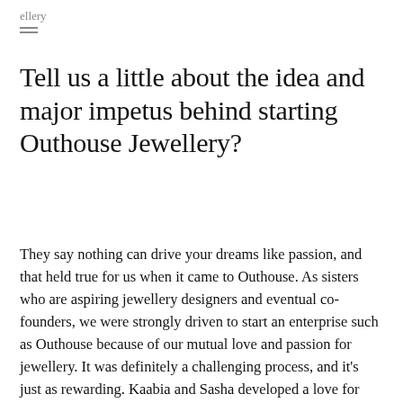ellery
Tell us a little about the idea and major impetus behind starting Outhouse Jewellery?
They say nothing can drive your dreams like passion, and that held true for us when it came to Outhouse. As sisters who are aspiring jewellery designers and eventual co-founders, we were strongly driven to start an enterprise such as Outhouse because of our mutual love and passion for jewellery. It was definitely a challenging process, and it’s just as rewarding. Kaabia and Sasha developed a love for jewellery at a young age during several visits to the jewellers with their mother. They grew up to pursue that love with degrees in jewellery design and